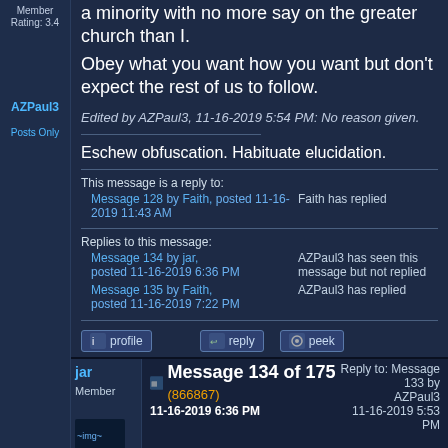Member
Rating: 3.4
AZPaul3
Posts Only
a minority with no more say on the greater church than I.
Obey what you want how you want but don't expect the rest of us to follow.
Edited by AZPaul3, 11-16-2019 5:54 PM: No reason given.
Eschew obfuscation. Habituate elucidation.
This message is a reply to:
Message 128 by Faith, posted 11-16-2019 11:43 AM
Faith has replied
Replies to this message:
Message 134 by jar, posted 11-16-2019 6:36 PM
AZPaul3 has seen this message but not replied
Message 135 by Faith, posted 11-16-2019 7:22 PM
AZPaul3 has replied
jar
Member
Message 134 of 175 (866867)
11-16-2019 6:36 PM
Reply to: Message 133 by AZPaul3
11-16-2019 5:53 PM